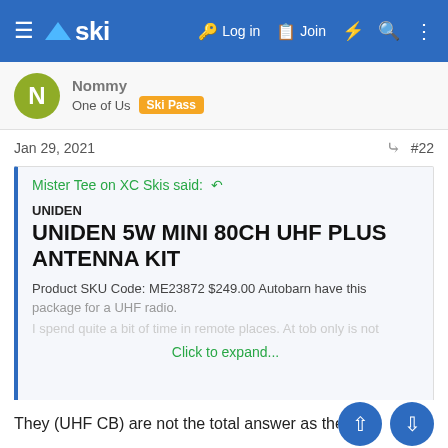≡ △ski  Log in  Join  ⚡  🔍  ⋮
N  One of Us  Ski Pass
Jan 29, 2021  #22
Mister Tee on XC Skis said: ↩

UNIDEN
UNIDEN 5W MINI 80CH UHF PLUS ANTENNA KIT
Product SKU Code: ME23872 $249.00 Autobarn have this package for a UHF radio.
Click to expand...
They (UHF CB) are not the total answer as they are generally speaking line of sight but definitely a b... d to have around when out of mobile range. You can also tune